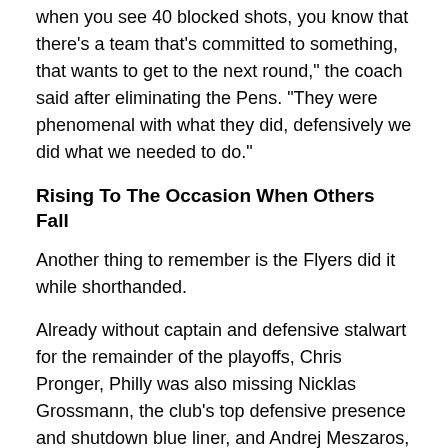when you see 40 blocked shots, you know that there's a team that's committed to something, that wants to get to the next round," the coach said after eliminating the Pens. "They were phenomenal with what they did, defensively we did what we needed to do."
Rising To The Occasion When Others Fall
Another thing to remember is the Flyers did it while shorthanded.
Already without captain and defensive stalwart for the remainder of the playoffs, Chris Pronger, Philly was also missing Nicklas Grossmann, the club's top defensive presence and shutdown blue liner, and Andrej Meszaros, who is still recovering from late-March back surgery.
[Figure (other): Partial box or table border visible at bottom of page]